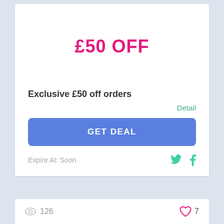£50 OFF
Exclusive £50 off orders
Detail
GET DEAL
Expire At: Soon
126
7